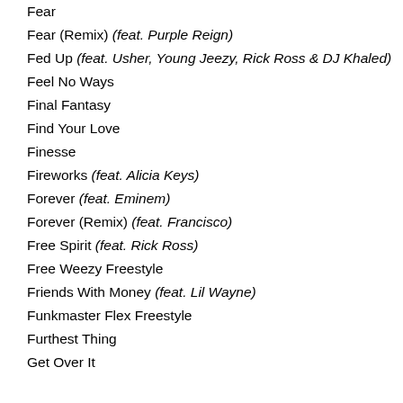Fear
Fear (Remix) (feat. Purple Reign)
Fed Up (feat. Usher, Young Jeezy, Rick Ross & DJ Khaled)
Feel No Ways
Final Fantasy
Find Your Love
Finesse
Fireworks (feat. Alicia Keys)
Forever (feat. Eminem)
Forever (Remix) (feat. Francisco)
Free Spirit (feat. Rick Ross)
Free Weezy Freestyle
Friends With Money (feat. Lil Wayne)
Funkmaster Flex Freestyle
Furthest Thing
Get Over It